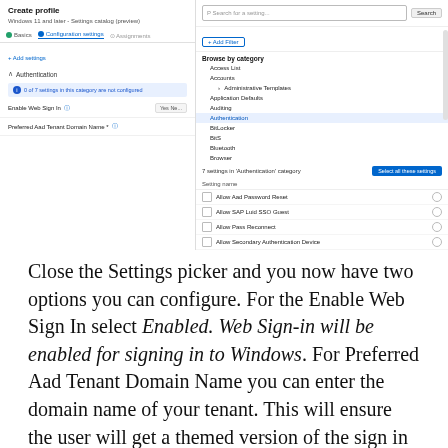[Figure (screenshot): UI screenshot showing a settings configuration panel with two panels: left panel shows 'Create profile' with steps (Basics, Configuration settings, Assignments), Authentication section with info banner and two settings rows (Enable Web Sign-In, Preferred AAD Tenant Domain Name). Right panel shows a settings picker with search, Add Filter, Browse by category list (Access List, Accounts, Administrative Templates, Application Defaults, Auditing, Authentication highlighted, BitLocker, BitLocker, Bluetooth, Browse) and a bottom section showing 7 settings in Authentication category with a 'Select all these settings' button and list of settings (Allow Aad Password Reset, Allow SAP Luid SSO Guest, Allow Pass Reconnect, Allow Secondary Authentication Device, Enable Fast First Sign-In, Enable Web Sign-In checked, Preferred Aad Tenant Domain Name checked).]
Close the Settings picker and you now have two options you can configure. For the Enable Web Sign In select Enabled. Web Sign-in will be enabled for signing in to Windows. For Preferred Aad Tenant Domain Name you can enter the domain name of your tenant. This will ensure the user will get a themed version of the sign in window (if you have any customizations).